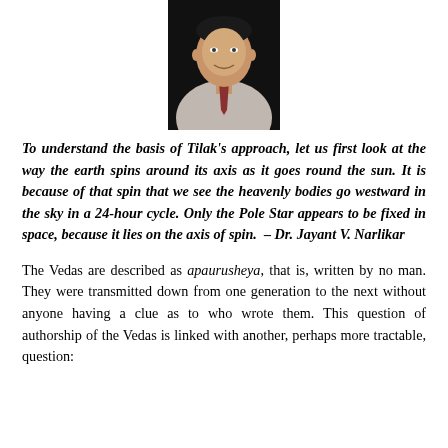[Figure (photo): Portrait photo of a man in a light grey suit and tie, dark background]
To understand the basis of Tilak's approach, let us first look at the way the earth spins around its axis as it goes round the sun. It is because of that spin that we see the heavenly bodies go westward in the sky in a 24-hour cycle. Only the Pole Star appears to be fixed in space, because it lies on the axis of spin.  – Dr. Jayant V. Narlikar
The Vedas are described as apaurusheya, that is, written by no man. They were transmitted down from one generation to the next without anyone having a clue as to who wrote them. This question of authorship of the Vedas is linked with another, perhaps more tractable, question: